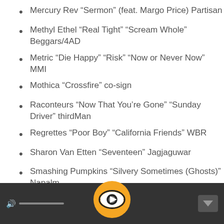Mercury Rev “Sermon” (feat. Margo Price) Partisan
Methyl Ethel “Real Tight” “Scream Whole” Beggars/4AD
Metric “Die Happy” “Risk” “Now or Never Now” MMI
Mothica “Crossfire” co-sign
Raconteurs “Now That You’re Gone” “Sunday Driver” thirdMan
Regrettes “Poor Boy” “California Friends” WBR
Sharon Van Etten “Seventeen” Jagjaguwar
Smashing Pumpkins “Silvery Sometimes (Ghosts)” Napalm
[Figure (screenshot): Media player footer bar with volume control on left, orange circular play/eye logo button in center, and down-arrow button on right, on dark background]